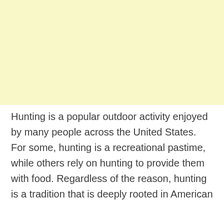[Figure (other): Large light yellow rectangular block filling the top portion of the page]
Hunting is a popular outdoor activity enjoyed by many people across the United States. For some, hunting is a recreational pastime, while others rely on hunting to provide them with food. Regardless of the reason, hunting is a tradition that is deeply rooted in American